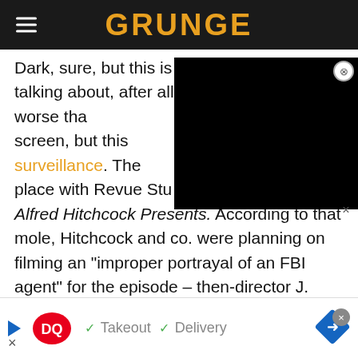GRUNGE
Dark, sure, but this is Hitchcock we're talking about, after all. It's not better or worse than anything else he brought to the screen, but this [resulted in] months of FBI surveillance. The [FBI placed a] stooge in place with Revue Studios, which produced Alfred Hitchcock Presents. According to that mole, Hitchcock and co. were planning on filming an "improper portrayal of an FBI agent" for the episode – then-director J. Edgar Hoover wasn't going to have any of that. Months of correspondence happened, as Hoover was determined to have the character removed from the
[Figure (screenshot): Black rectangular overlay/video ad covering right portion of text]
[Figure (infographic): Dairy Queen advertisement banner at bottom: DQ logo, checkmark Takeout, checkmark Delivery, navigation arrow icon]